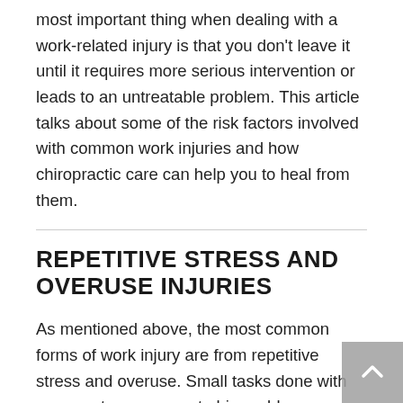most important thing when dealing with a work-related injury is that you don't leave it until it requires more serious intervention or leads to an untreatable problem. This article talks about some of the risk factors involved with common work injuries and how chiropractic care can help you to heal from them.
REPETITIVE STRESS AND OVERUSE INJURIES
As mentioned above, the most common forms of work injury are from repetitive stress and overuse. Small tasks done with poor posture can create big problems over time. Twisting and turning while moving boxes or even continuous typing can cause both acute and chronic pain to arise. Even if you are